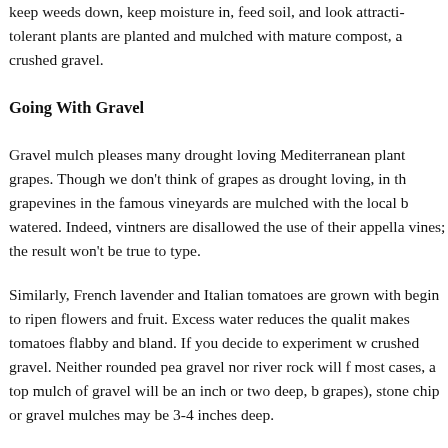keep weeds down, keep moisture in, feed soil, and look attracti tolerant plants are planted and mulched with mature compost, a crushed gravel.
Going With Gravel
Gravel mulch pleases many drought loving Mediterranean plant grapes. Though we don't think of grapes as drought loving, in th grapevines in the famous vineyards are mulched with the local b watered. Indeed, vintners are disallowed the use of their appella vines; the result won't be true to type.
Similarly, French lavender and Italian tomatoes are grown with begin to ripen flowers and fruit. Excess water reduces the qualit makes tomatoes flabby and bland. If you decide to experiment w crushed gravel. Neither rounded pea gravel nor river rock will f most cases, a top mulch of gravel will be an inch or two deep, b grapes), stone chip or gravel mulches may be 3-4 inches deep.